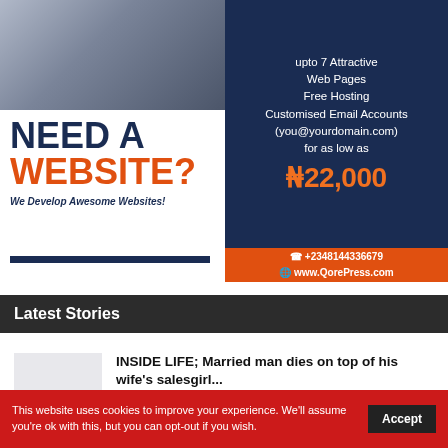[Figure (infographic): Website development advertisement showing a person typing on a laptop (left/top), dark navy box with service details including 'upto 7 Attractive Web Pages, Free Hosting, Customised Email Accounts (you@yourdomain.com) for as low as ₦22,000', orange contact box with phone +2348144336679 and www.QorePress.com. Left side reads 'NEED A WEBSITE? We Develop Awesome Websites!' with a navy underline bar.]
Latest Stories
INSIDE LIFE; Married man dies on top of his wife's salesgirl...
Apr 24, 2022
This website uses cookies to improve your experience. We'll assume you're ok with this, but you can opt-out if you wish. Accept